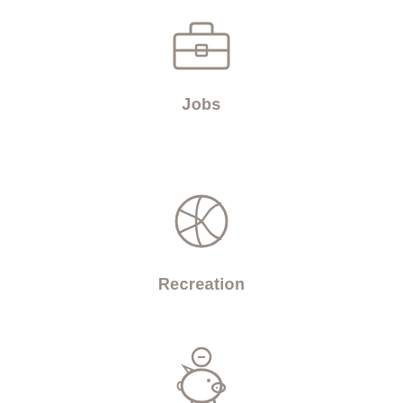[Figure (illustration): Briefcase icon representing Jobs category]
Jobs
[Figure (illustration): Sports ball / globe icon representing Recreation category]
Recreation
[Figure (illustration): Piggy bank icon partially visible at bottom of page]